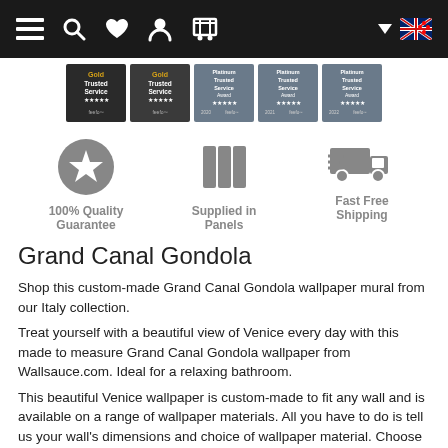Navigation bar with menu, search, wishlist, account, cart icons and country selector
[Figure (other): Five Feefo Gold Trusted Service Award badges in a row]
[Figure (infographic): Three feature icons: 100% Quality Guarantee (star badge icon), Supplied in Panels (panels icon), Fast Free Shipping (delivery truck icon)]
Grand Canal Gondola
Shop this custom-made Grand Canal Gondola wallpaper mural from our Italy collection.
Treat yourself with a beautiful view of Venice every day with this made to measure Grand Canal Gondola wallpaper from Wallsauce.com. Ideal for a relaxing bathroom.
This beautiful Venice wallpaper is custom-made to fit any wall and is available on a range of wallpaper materials. All you have to do is tell us your wall's dimensions and choice of wallpaper material. Choose from classic or premium paste the wall or textured peel and stick. The choice is yours.